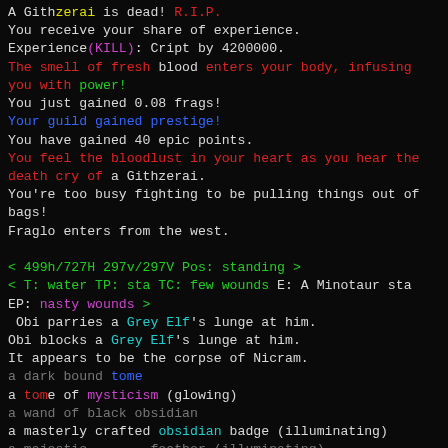A Githzerai is dead! R.I.P.
You receive your share of experience.
Experience(KILL): Cript by 4200000.
The smell of fresh blood enters your body, infusing you with power!
You just gained 0.08 frags!
Your guild gained prestige!
You have gained 40 epic points.
You feel the bloodlust in your heart as you hear the death cry of a Githzerai.
You're too busy fighting to be pulling things out of bags!
Fraglo enters from the west.
< 499h/727H 297v/297V Pos: standing >
< T: water TP: sta TC: few wounds E: A Minotaur sta EP: nasty wounds >
Obi parries a Grey Elf's lunge at him.
Obi blocks a Grey Elf's lunge at him.
It appears to be the corpse of Nicram.
a dark bound tome
a tome of mysticism (glowing)
a wand of black obsidian
a masterly crafted obsidian badge (illuminating)
a majestic ... feather (illuminating)